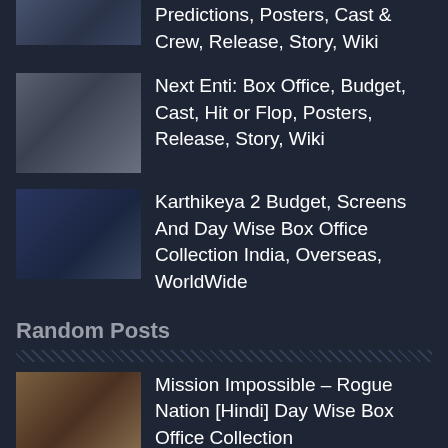Predictions, Posters, Cast & Crew, Release, Story, Wiki
Next Enti: Box Office, Budget, Cast, Hit or Flop, Posters, Release, Story, Wiki
Karthikeya 2 Budget, Screens And Day Wise Box Office Collection India, Overseas, WorldWide
Random Posts
Mission Impossible – Rogue Nation [Hindi] Day Wise Box Office Collection
Ittefaq First Look Posters; Release On 03 November 2017